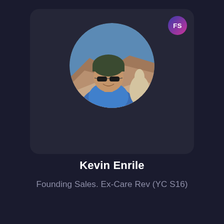[Figure (photo): Profile card with circular photo of Kevin Enrile — a man wearing sunglasses and a dark beanie, smiling, with a blue jacket, in front of a mountainous outdoor backdrop with a llama. A badge labeled 'FS' appears in the top-right corner of the card.]
Kevin Enrile
Founding Sales. Ex-Care Rev (YC S16)